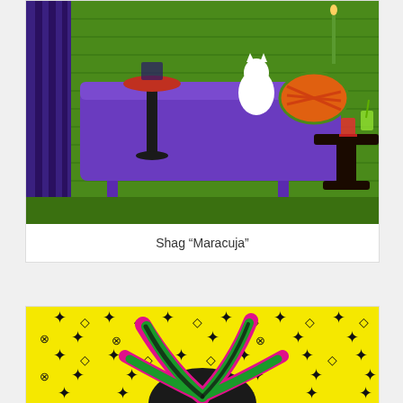[Figure (illustration): Shag retro mid-century modern lounge illustration showing a purple sofa with a white cat, green background, side table with red drink, and a black pedestal table. Artist signature visible bottom left.]
Shag “Maracuja”
[Figure (illustration): Pop art style illustration of a pink and green agave plant against a bright yellow background covered with black Louis Vuitton-style monogram pattern symbols including four-petal flowers, diamonds, and palm tree logos.]